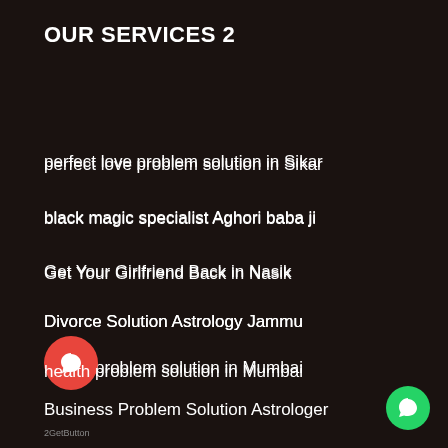OUR SERVICES 2
perfect love problem solution in Sikar
black magic specialist Aghori baba ji
Get Your Girlfriend Back in Nasik
Divorce Solution Astrology Jammu
health problem solution in Mumbai
Business Problem Solution Astrologer
husband wife problem solution in Jaipur
free vashikaran mantra by photo